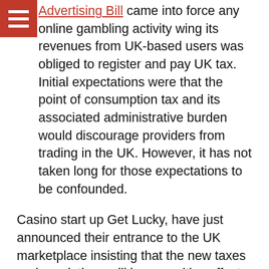Advertising Bill came into force any online gambling activity wing its revenues from UK-based users was obliged to register and pay UK tax. Initial expectations were that the point of consumption tax and its associated administrative burden would discourage providers from trading in the UK. However, it has not taken long for those expectations to be confounded.
Casino start up Get Lucky, have just announced their entrance to the UK marketplace insisting that the new taxes and regulations will have positive effects for both online casino providers and their users. Their argument is that a fully regulated industry will make for a new level of player protection and a fair playing field for operators.
That positive thinking from Get Lucky is not just a matter of their hopes for the future. Get Lucky are not only bringing some of the world's biggest jackpots to UK players, they are also rolling out an innovative and potentially game changing loyalty programme. In the short term, it is the L5million pay outs available via Mega Moolah and the similarly seven figure drops from games such as Gladiator, Hall of Gods and Mega Fortune that are setting pulses racing. But over the longer